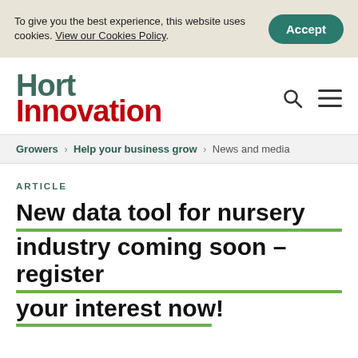To give you the best experience, this website uses cookies. View our Cookies Policy.
Accept
[Figure (logo): Hort Innovation logo with green 'Hort' and red 'Innovation' text]
Growers › Help your business grow › News and media
ARTICLE
New data tool for nursery industry coming soon – register your interest now!